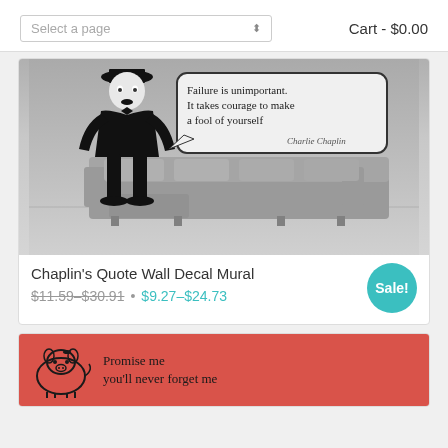Select a page | Cart - $0.00
[Figure (photo): Wall decal mural showing Charlie Chaplin silhouette with speech bubble containing quote: 'Failure is unimportant. It takes courage to make a fool of yourself - Charlie Chaplin', displayed above a gray sectional sofa in a living room setting]
Chaplin's Quote Wall Decal Mural
$11.59–$30.91 • $9.27–$24.73 Sale!
[Figure (photo): Partial view of a red/coral background product image with a cartoon pig illustration. Text reads: 'Promise me you'll never forget me']